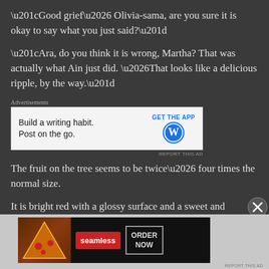“Good grief… Olivia-sama, are you sure it is okay to say what you just said?”
“Ara, do you think it is wrong, Martha? That was actually what Ain just did. …That looks like a delicious ripple, by the way.”
[Figure (other): Advertisement: Build a writing habit. Post on the go. GET THE APP WordPress logo]
The fruit on the tree seems to be twice… four times the normal size.
It is bright red with a glossy surface and a sweet and
[Figure (other): Advertisement: seamless ORDER NOW, with pizza image]